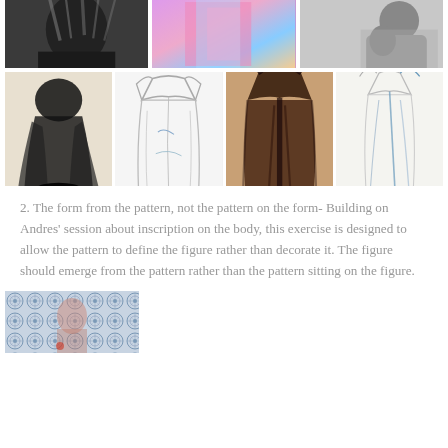[Figure (photo): Top row of three photographs: left is a black and white portrait, center is a colorful abstract/thermal image, right is a black and white figure/body photograph]
[Figure (photo): Middle row of four artwork images: dark draped figure painting, light sketchy garment drawing, brown/dark coat figure painting, light sketchy figure with blue accents]
2. The form from the pattern, not the pattern on the form- Building on Andres' session about inscription on the body, this exercise is designed to allow the pattern to define the figure rather than decorate it. The figure should emerge from the pattern rather than the pattern sitting on the figure.
[Figure (photo): Bottom partial image showing an intricate blue and white geometric/mandala pattern with a figure emerging from it]